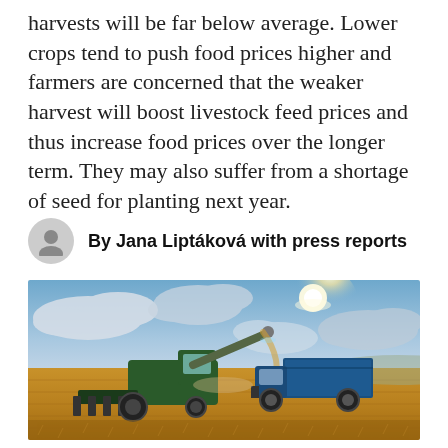harvests will be far below average. Lower crops tend to push food prices higher and farmers are concerned that the weaker harvest will boost livestock feed prices and thus increase food prices over the longer term. They may also suffer from a shortage of seed for planting next year.
By Jana Liptáková with press reports
[Figure (photo): A combine harvester working in a golden wheat field under a dramatic cloudy sky with bright sunlight, transferring grain into a blue truck alongside it.]